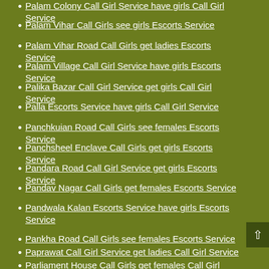Palam Colony Call Girl Service have girls Call Girl Service
Palam Vihar Call Girls see girls Escorts Service
Palam Vihar Road Call Girls get ladies Escorts Service
Palam Village Call Girl Service have girls Escorts Service
Palika Bazar Call Girl Service get girls Call Girl Service
Palla Escorts Service have girls Call Girl Service
Panchkuian Road Call Girls see females Escorts Service
Panchsheel Enclave Call Girls get girls Escorts Service
Pandara Road Call Girl Service get girls Escorts Service
Pandav Nagar Call Girls get females Escorts Service
Pandwala Kalan Escorts Service have girls Escorts Service
Pankha Road Call Girls see females Escorts Service
Paprawat Call Girl Service get ladies Call Girl Service
Parliament House Call Girls get females Call Girl Service